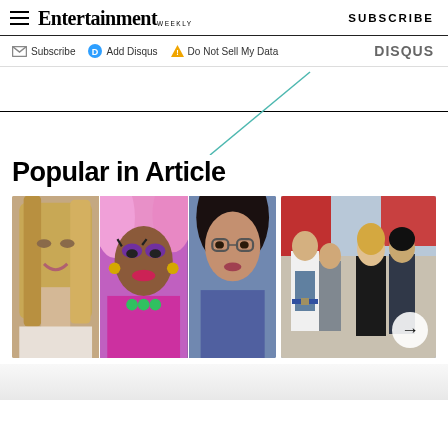Entertainment Weekly — SUBSCRIBE
Subscribe  Add Disqus  Do Not Sell My Data    DISQUS
[Figure (illustration): Diagonal teal/green line crossing a horizontal rule, decorative divider]
Popular in Article
[Figure (photo): Collage of three celebrity photos: blonde woman, drag queen in pink wig and purple makeup, woman with dark hair]
[Figure (photo): Group photo of people outdoors, including man in white t-shirt and woman in black outfit; right arrow navigation button visible]